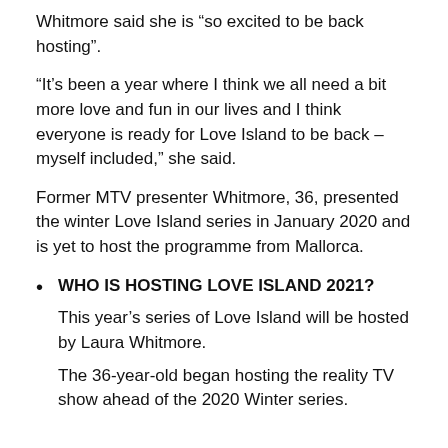Whitmore said she is “so excited to be back hosting”.
“It’s been a year where I think we all need a bit more love and fun in our lives and I think everyone is ready for Love Island to be back – myself included,” she said.
Former MTV presenter Whitmore, 36, presented the winter Love Island series in January 2020 and is yet to host the programme from Mallorca.
WHO IS HOSTING LOVE ISLAND 2021?

This year’s series of Love Island will be hosted by Laura Whitmore.

The 36-year-old began hosting the reality TV show ahead of the 2020 Winter series.